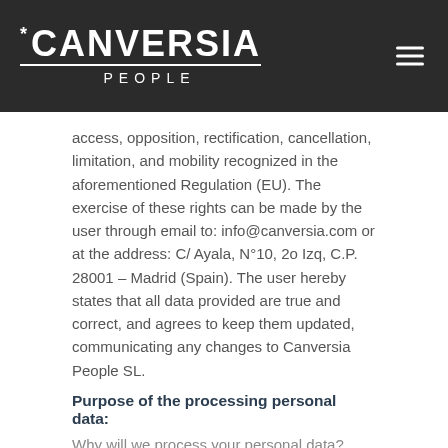CANVERSIA PEOPLE
access, opposition, rectification, cancellation, limitation, and mobility recognized in the aforementioned Regulation (EU). The exercise of these rights can be made by the user through email to: info@canversia.com or at the address: C/ Ayala, N°10, 2o Izq, C.P. 28001 – Madrid (Spain). The user hereby states that all data provided are true and correct, and agrees to keep them updated, communicating any changes to Canversia People SL.
Purpose of the processing personal data:
Why will we process your personal data?
At Canversia People SL, we will treat your